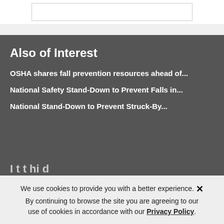[Figure (other): White box with border, partial image visible at top of page]
Also of Interest
OSHA shares fall prevention resources ahead of...
National Safety Stand-Down to Prevent Falls in...
National Stand-Down to Prevent Struck-By...
We use cookies to provide you with a better experience. By continuing to browse the site you are agreeing to our use of cookies in accordance with our Privacy Policy.